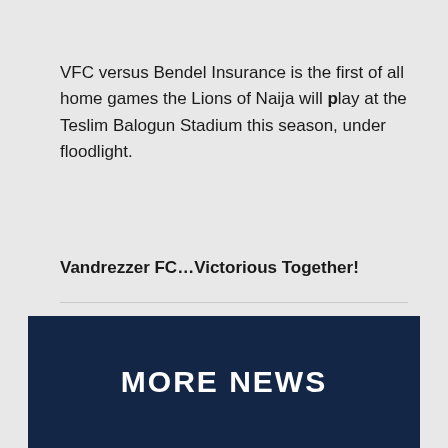VFC versus Bendel Insurance is the first of all home games the Lions of Naija will play at the Teslim Balogun Stadium this season, under floodlight.
Vandrezzer FC…Victorious Together!
Featured News
MORE NEWS